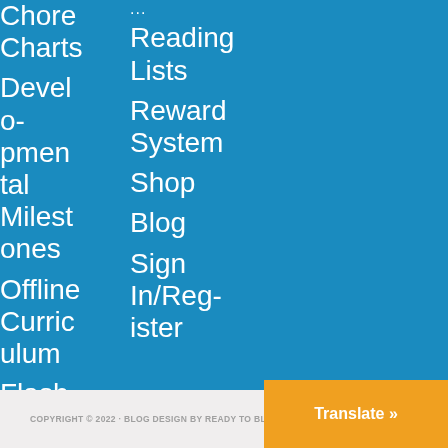Chore Charts
Developmental Milestones
Offline Curriculum
Flash Cards
Reading Lists
Reward System
Shop
Blog
Sign In/Register
COPYRIGHT © 2022 · BLOG DESIGN BY READY TO BLOG DESIGNS